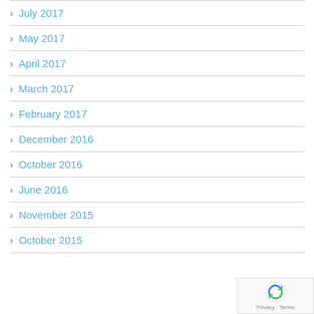July 2017
May 2017
April 2017
March 2017
February 2017
December 2016
October 2016
June 2016
November 2015
October 2015